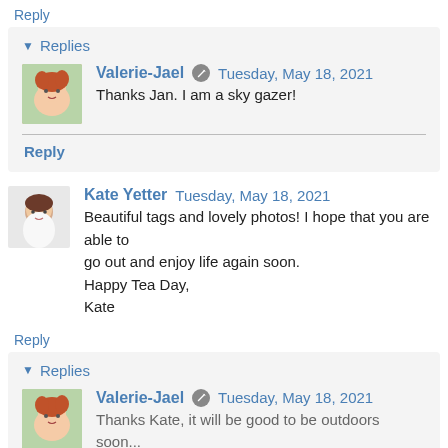Reply
▾ Replies
Valerie-Jael  Tuesday, May 18, 2021
Thanks Jan. I am a sky gazer!
Reply
Kate Yetter  Tuesday, May 18, 2021
Beautiful tags and lovely photos! I hope that you are able to go out and enjoy life again soon.
Happy Tea Day,
Kate
Reply
▾ Replies
Valerie-Jael  Tuesday, May 18, 2021
Thanks Kate, it will be good to be outdoors soon...